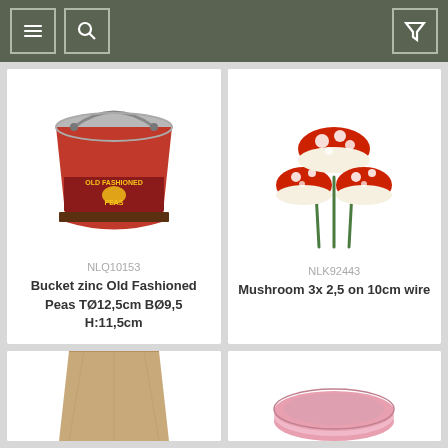Navigation header with menu, search, and filter icons
[Figure (photo): Zinc bucket with Old Fashioned Peas label]
NLQ10153
Bucket zinc Old Fashioned Peas TØ12,5cm BØ9,5 H:11,5cm
[Figure (photo): Three red mushrooms on wire]
NLK92443
Mushroom 3x 2,5 on 10cm wire
[Figure (photo): Brown paper pot partially visible at bottom]
[Figure (photo): Pink bowl partially visible at bottom]